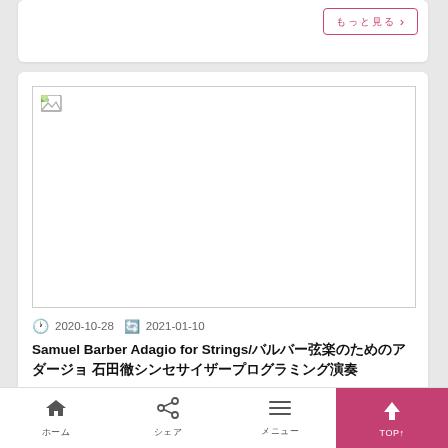[Figure (other): Top card partial with a pink outlined button showing Japanese text and a right arrow chevron]
[Figure (photo): Article thumbnail image (broken/missing image placeholder) for a blog post about Samuel Barber Adagio for Strings]
2020-10-28   2021-01-10
Samuel Barber Adagio for Strings/バルバー弦楽のためのアダージョ 石田徹シンセサイザープログラミング演奏
Synthesizer programming performance by Tohru Ishida. The video
ホーム　シェア　メニュー　TOP↑